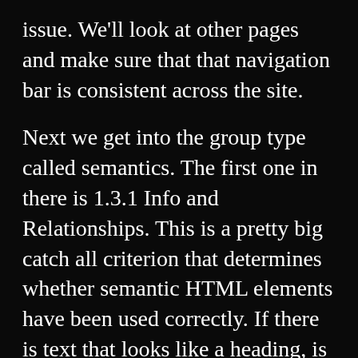issue. We'll look at other pages and make sure that that navigation bar is consistent across the site.
Next we get into the group type called semantics. The first one in there is 1.3.1 Info and Relationships. This is a pretty big catch all criterion that determines whether semantic HTML elements have been used correctly. If there is text that looks like a heading, is it marked up as a heading? Are they using the landmarks on the page completely and properly? Things that look like lists, are they marked up semantically as lists? If there's a data table, is that marked up correctly with like column headers? [00:41:00] If there's